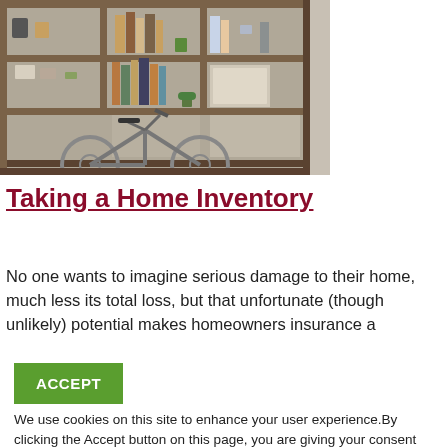[Figure (photo): A wooden bookshelf with books, small items, and a bicycle leaning against it in a home setting.]
Taking a Home Inventory
No one wants to imagine serious damage to their home, much less its total loss, but that unfortunate (though unlikely) potential makes homeowners insurance a
ACCEPT
We use cookies on this site to enhance your user experience.By clicking the Accept button on this page, you are giving your consent for us to set cookies.